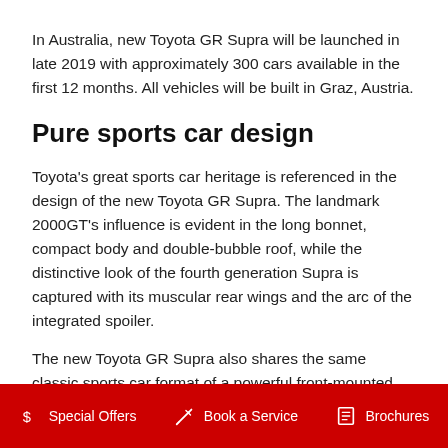In Australia, new Toyota GR Supra will be launched in late 2019 with approximately 300 cars available in the first 12 months. All vehicles will be built in Graz, Austria.
Pure sports car design
Toyota's great sports car heritage is referenced in the design of the new Toyota GR Supra. The landmark 2000GT's influence is evident in the long bonnet, compact body and double-bubble roof, while the distinctive look of the fourth generation Supra is captured with its muscular rear wings and the arc of the integrated spoiler.
The new Toyota GR Supra also shares the same classic sports car format of a powerful front-mounted six-cylinder engine and rear-wheel drive as its celebrated
Special Offers   Book a Service   Brochures